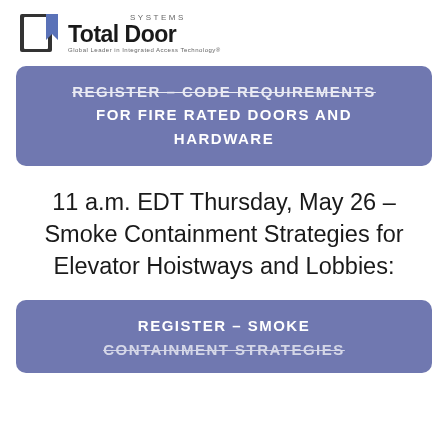[Figure (logo): Total Door Systems logo — black door icon with blue bookmark shape, bold 'Total Door' text, tagline 'Global Leader in Integrated Access Technology']
REGISTER – CODE REQUIREMENTS FOR FIRE RATED DOORS AND HARDWARE
11 a.m. EDT Thursday, May 26 – Smoke Containment Strategies for Elevator Hoistways and Lobbies:
REGISTER – SMOKE